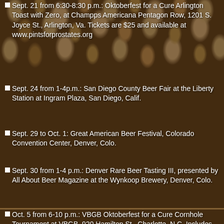Sept. 21 from 6:30-8:30 p.m.: Oktoberfest for a Cure Arlington Toast with Zero, at Champps Americana Pentagon Row, 1201 S. Joyce St., Arlington, Va. Tickets are $25 and available at www.pintsforprostates.org
Sept. 24 from 1-4p.m.: San Diego County Beer Fair at the Liberty Station at Ingram Plaza, San Diego, Calif.
Sept. 29 to Oct. 1: Great American Beer Festival, Colorado Convention Center, Denver, Colo.
Sept. 30 from 1-4 p.m.: Denver Rare Beer Tasting III, presented by All About Beer Magazine at the Wynkoop Brewery, Denver, Colo.
Oct. 5 from 6-10 p.m.: VBGB Oktoberfest for a Cure Cornhole Tournament at VBGB, 920 Hamilton St., Charlotte, N.C. Includes first Charlotte tapping of Highland PSA Pilsner.
Oct. 6 from 6-9 p.m.: Baltimore Beer Opening Tap Celebration at the Rams Head in Baltimore, Md. $30...